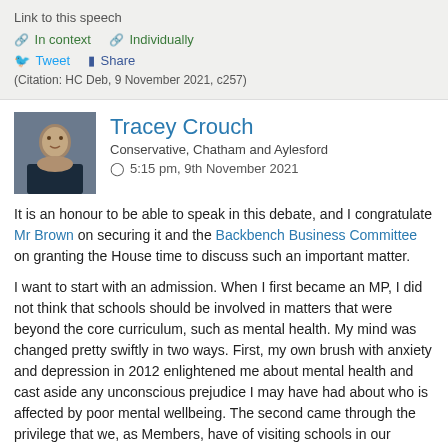Link to this speech
In context   Individually
Tweet   Share
(Citation: HC Deb, 9 November 2021, c257)
Tracey Crouch
Conservative, Chatham and Aylesford
5:15 pm, 9th November 2021
It is an honour to be able to speak in this debate, and I congratulate Mr Brown on securing it and the Backbench Business Committee on granting the House time to discuss such an important matter.
I want to start with an admission. When I first became an MP, I did not think that schools should be involved in matters that were beyond the core curriculum, such as mental health. My mind was changed pretty swiftly in two ways. First, my own brush with anxiety and depression in 2012 enlightened me about mental health and cast aside any unconscious prejudice I may have had about who is affected by poor mental wellbeing. The second came through the privilege that we, as Members, have of visiting schools in our constituency and seeing that